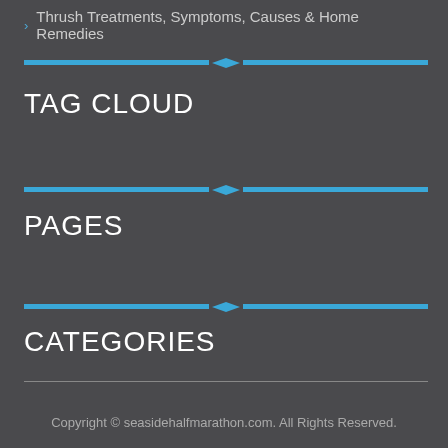Thrush Treatments, Symptoms, Causes & Home Remedies
TAG CLOUD
PAGES
CATEGORIES
Copyright © seasidehalfmarathon.com. All Rights Reserved.